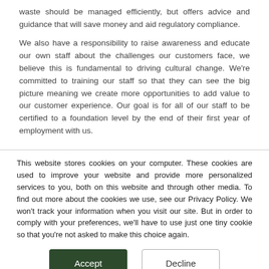waste should be managed efficiently, but offers advice and guidance that will save money and aid regulatory compliance.
We also have a responsibility to raise awareness and educate our own staff about the challenges our customers face, we believe this is fundamental to driving cultural change. We're committed to training our staff so that they can see the big picture meaning we create more opportunities to add value to our customer experience. Our goal is for all of our staff to be certified to a foundation level by the end of their first year of employment with us.
This website stores cookies on your computer. These cookies are used to improve your website and provide more personalized services to you, both on this website and through other media. To find out more about the cookies we use, see our Privacy Policy. We won't track your information when you visit our site. But in order to comply with your preferences, we'll have to use just one tiny cookie so that you're not asked to make this choice again.